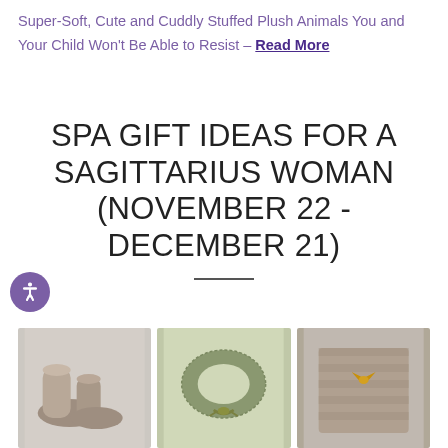Super-Soft, Cute and Cuddly Stuffed Plush Animals You and Your Child Won't Be Able to Resist – Read More
SPA GIFT IDEAS FOR A SAGITTARIUS WOMAN (NOVEMBER 22 - DECEMBER 21)
[Figure (photo): Three spa gift product images side by side: fuzzy slippers/boots on the left, a green knitted neck pillow with ribbon in the center, and a patterned blanket/wrap with ribbon on the right.]